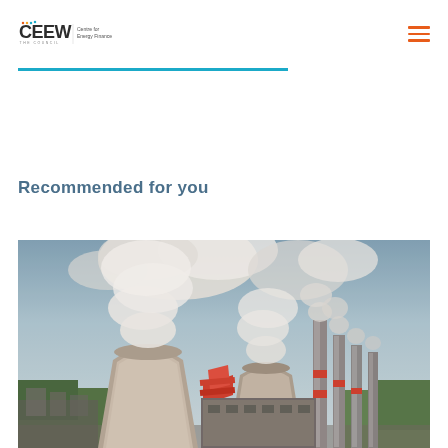CEEW Centre for Energy Finance
Recommended for you
[Figure (photo): Aerial view of a large coal power plant with massive cooling towers emitting steam and smoke stacks, industrial facility surrounded by green landscape and overcast sky]